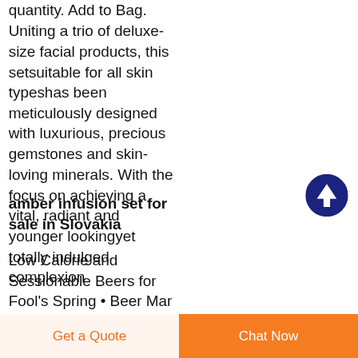quantity. Add to Bag. Uniting a trio of deluxe-size facial products, this setsuitable for all skin typeshas been meticulously designed with luxurious, precious gemstones and skin-loving minerals. With the focus on achieving a vital, radiant and younger lookingyet totally indulged complexion
[Figure (other): Dark navy blue circular button with a white upward-pointing arrow icon, used as a scroll-to-top button]
amber infusion set for sale in Slovakia
Low Calorie and Sessionable Beers for Fool's Spring • Beer Mar 05, 2021 · Welcome to Beer Dabbler's Freshies, our
Get a Quote   Chat Now